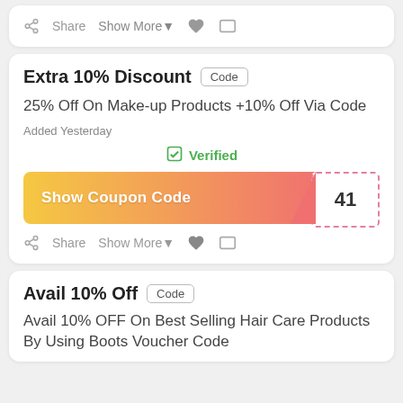Share  Show More▼  ♥  ▭
Extra 10% Discount  Code
25% Off On Make-up Products +10% Off Via Code
Added Yesterday
✓ Verified
[Figure (infographic): Show Coupon Code button with gradient from yellow to pink, with a dashed-border reveal section showing '41']
Share  Show More▼  ♥  ▭
Avail 10% Off  Code
Avail 10% OFF On Best Selling Hair Care Products By Using Boots Voucher Code